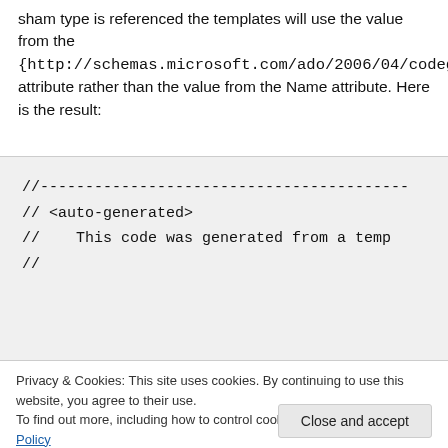sham type is referenced the templates will use the value from the {http://schemas.microsoft.com/ado/2006/04/codegeneration}ExternalTypeName attribute rather than the value from the Name attribute. Here is the result:
[Figure (screenshot): Code block showing auto-generated comment header: //---, // <auto-generated>, //    This code was generated from a temp, //]
Privacy & Cookies: This site uses cookies. By continuing to use this website, you agree to their use. To find out more, including how to control cookies, see here: Cookie Policy